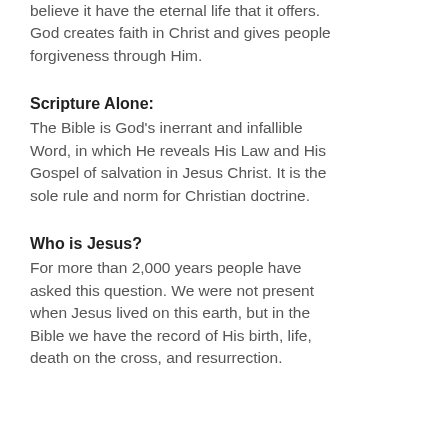believe it have the eternal life that it offers. God creates faith in Christ and gives people forgiveness through Him.
Scripture Alone:
The Bible is God's inerrant and infallible Word, in which He reveals His Law and His Gospel of salvation in Jesus Christ. It is the sole rule and norm for Christian doctrine.
Who is Jesus?
For more than 2,000 years people have asked this question. We were not present when Jesus lived on this earth, but in the Bible we have the record of His birth, life, death on the cross, and resurrection.